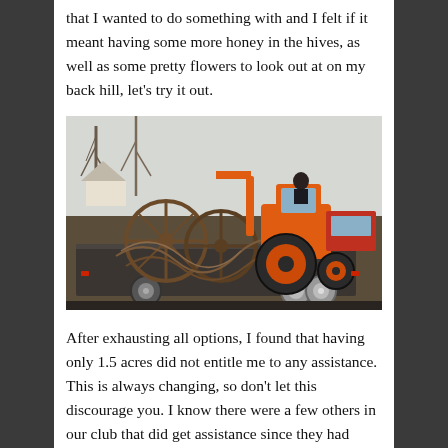that I wanted to do something with and I felt if it meant having some more honey in the hives, as well as some pretty flowers to look out at on my back hill, let's try it out.
[Figure (photo): A flatbed trailer loaded with old farm equipment including large metal wheels and tine harrow attachments, with an orange Kubota tractor driving onto or off the trailer, parked outside with bare winter trees and a red vehicle in the background.]
After exhausting all options, I found that having only 1.5 acres did not entitle me to any assistance. This is always changing, so don't let this discourage you. I know there were a few others in our club that did get assistance since they had